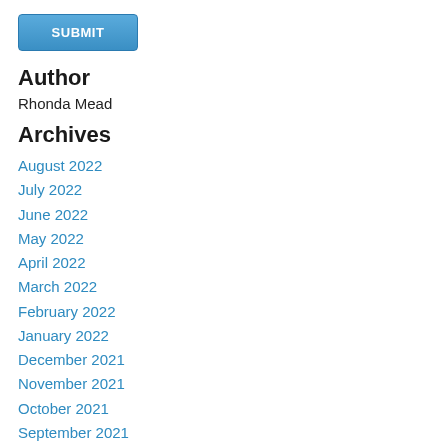[Figure (other): Blue SUBMIT button]
Author
Rhonda Mead
Archives
August 2022
July 2022
June 2022
May 2022
April 2022
March 2022
February 2022
January 2022
December 2021
November 2021
October 2021
September 2021
August 2021
July 2021